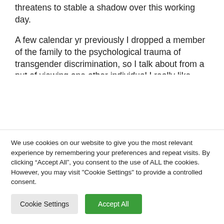threatens to stable a shadow over this working day.
A few calendar yr previously I dropped a member of the family to the psychological trauma of transgender discrimination, so I talk about from a put of viewing one other individual I really like endure from deficiency of help. These new and proposed laws, none of that are grounded in proof-centered remedy, will affect the psychological and bodily well being and health of
We use cookies on our website to give you the most relevant experience by remembering your preferences and repeat visits. By clicking “Accept All”, you consent to the use of ALL the cookies. However, you may visit "Cookie Settings" to provide a controlled consent.
Cookie Settings
Accept All